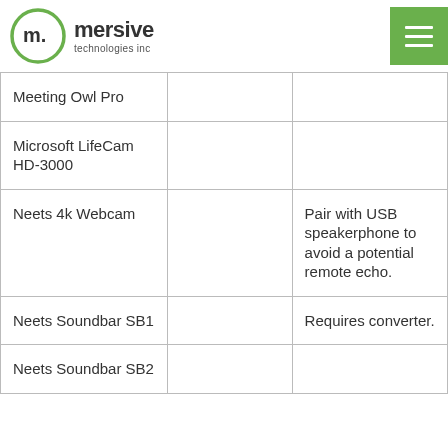mersive technologies inc
| Meeting Owl Pro |  |  |
| Microsoft LifeCam HD-3000 |  |  |
| Neets 4k Webcam |  | Pair with USB speakerphone to avoid a potential remote echo. |
| Neets Soundbar SB1 |  | Requires converter. |
| Neets Soundbar SB2 |  |  |